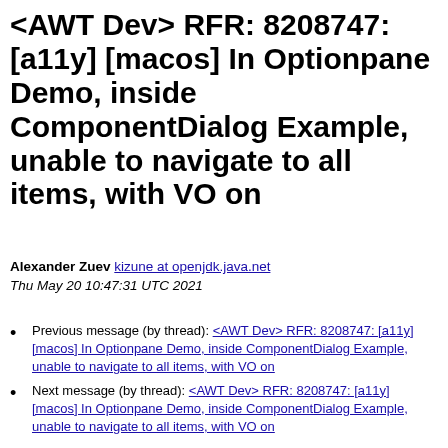<AWT Dev> RFR: 8208747: [a11y] [macos] In Optionpane Demo, inside ComponentDialog Example, unable to navigate to all items, with VO on
Alexander Zuev kizune at openjdk.java.net
Thu May 20 10:47:31 UTC 2021
Previous message (by thread): <AWT Dev> RFR: 8208747: [a11y] [macos] In Optionpane Demo, inside ComponentDialog Example, unable to navigate to all items, with VO on
Next message (by thread): <AWT Dev> RFR: 8208747: [a11y] [macos] In Optionpane Demo, inside ComponentDialog Example, unable to navigate to all items, with VO on